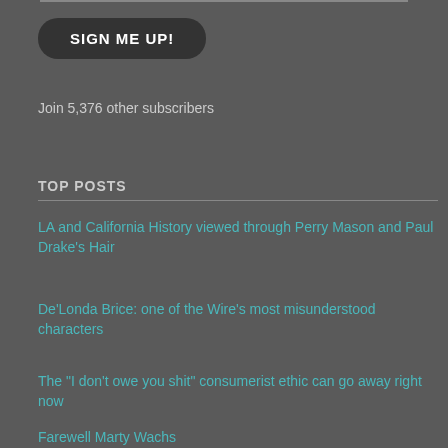SIGN ME UP!
Join 5,376 other subscribers
TOP POSTS
LA and California History viewed through Perry Mason and Paul Drake's Hair
De'Londa Brice: one of the Wire's most misunderstood characters
The "I don't owe you shit" consumerist ethic can go away right now
Farewell Marty Wachs